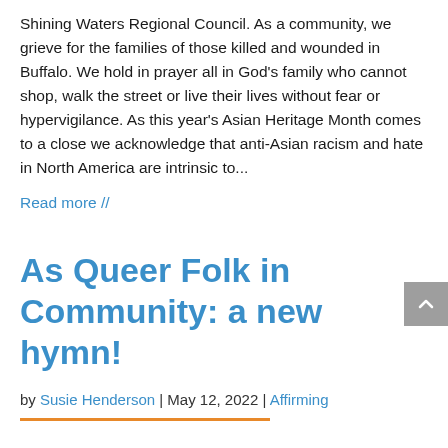Shining Waters Regional Council. As a community, we grieve for the families of those killed and wounded in Buffalo. We hold in prayer all in God's family who cannot shop, walk the street or live their lives without fear or hypervigilance. As this year's Asian Heritage Month comes to a close we acknowledge that anti-Asian racism and hate in North America are intrinsic to...
Read more //
As Queer Folk in Community: a new hymn!
by Susie Henderson | May 12, 2022 | Affirming